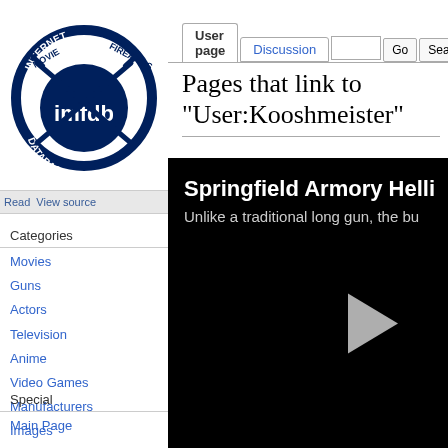Log in / create account
[Figure (logo): IMFDB (Internet Movie Firearms Database) circular logo with crossed rifles and text]
Read  View source
User page  Discussion
Categories
Movies
Guns
Actors
Television
Anime
Video Games
Manufacturers
Images
General Information
Special
Main Page
Pages that link to "User:Kooshmeister"
[Figure (screenshot): Black video player thumbnail showing text 'Springfield Armory Helli...' and 'Unlike a traditional long gun, the bu...' with a play button triangle on the right]